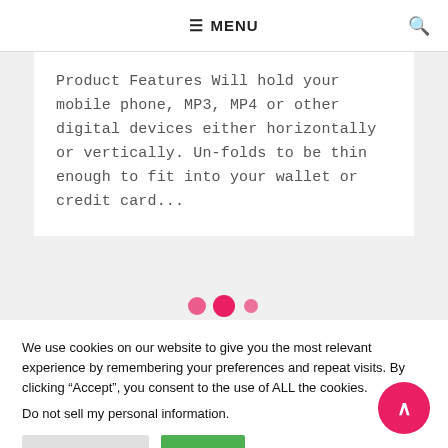≡ MENU
Product Features Will hold your mobile phone, MP3, MP4 or other digital devices either horizontally or vertically. Un-folds to be thin enough to fit into your wallet or credit card...
We use cookies on our website to give you the most relevant experience by remembering your preferences and repeat visits. By clicking “Accept”, you consent to the use of ALL the cookies.
Do not sell my personal information.